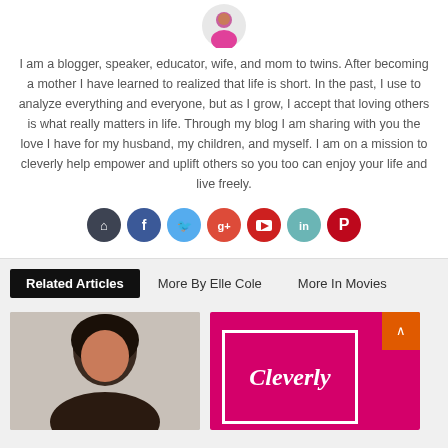[Figure (photo): Circular avatar photo of a woman in pink top at top of bio card]
I am a blogger, speaker, educator, wife, and mom to twins. After becoming a mother I have learned to realized that life is short. In the past, I use to analyze everything and everyone, but as I grow, I accept that loving others is what really matters in life. Through my blog I am sharing with you the love I have for my husband, my children, and myself. I am on a mission to cleverly help empower and uplift others so you too can enjoy your life and live freely.
[Figure (infographic): Row of social media icon buttons: home (dark grey), facebook (blue), twitter (light blue), google+ (red-orange), youtube (red-orange), linkedin (teal), pinterest (red)]
Related Articles | More By Elle Cole | More In Movies
[Figure (photo): Photo of a woman with dark hair on left article thumbnail]
[Figure (logo): Cleverly styled magenta/pink branded image with cursive 'Cleverly' text and orange scroll-to-top button]